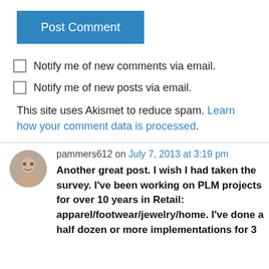Post Comment
Notify me of new comments via email.
Notify me of new posts via email.
This site uses Akismet to reduce spam. Learn how your comment data is processed.
pammers612 on July 7, 2013 at 3:19 pm
Another great post. I wish I had taken the survey. I've been working on PLM projects for over 10 years in Retail: apparel/footwear/jewelry/home. I've done a half dozen or more implementations for 3